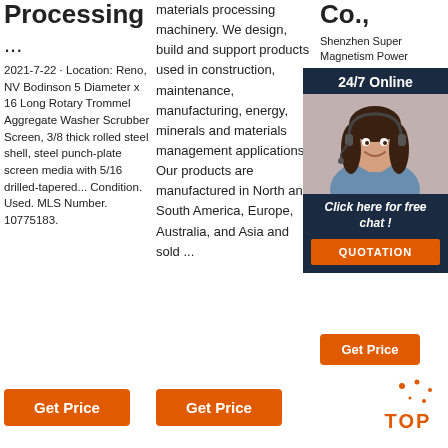Processing
...
2021-7-22 · Location: Reno, NV Bodinson 5 Diameter x 16 Long Rotary Trommel Aggregate Washer Scrubber Screen, 3/8 thick rolled steel shell, steel punch-plate screen media with 5/16 drilled-tapered... Condition. Used. MLS Number. 10775183.
materials processing machinery. We design, build and support products used in construction, maintenance, manufacturing, energy, minerals and materials management applications. Our products are manufactured in North and South America, Europe, Australia, and Asia and sold ...
Co.,
Shenzhen Super Magnetism Power Technology Co., Ltd. Exp... Man... Expo... elec... more... Veri... Sup... Alib...
[Figure (photo): Chat widget with woman wearing headset, 24/7 Online header, Click here for free chat text, and QUOTATION button]
Get Price
Get Price
Get Price
[Figure (logo): TOP scroll-to-top icon with dots]